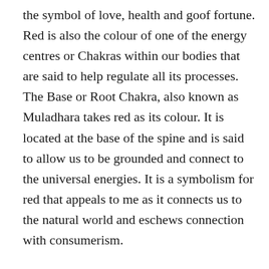the symbol of love, health and goof fortune. Red is also the colour of one of the energy centres or Chakras within our bodies that are said to help regulate all its processes. The Base or Root Chakra, also known as Muladhara takes red as its colour. It is located at the base of the spine and is said to allow us to be grounded and connect to the universal energies. It is a symbolism for red that appeals to me as it connects us to the natural world and eschews connection with consumerism.
In many ways red is the opposite of blue. Red speeds up our heart rate, blood flow and body temperature. Blue on the other hand symbolizes serenity and stability. It is associated with the ocean and the sky. Maybe this is why